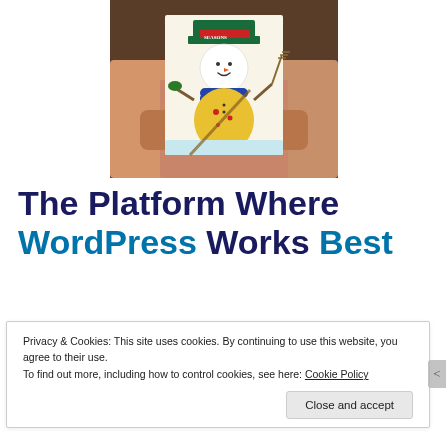[Figure (photo): Elderly person in wheelchair holding a hand-drawn snowman coloring page/artwork with colorful snowman design]
The Platform Where WordPress Works Best
Privacy & Cookies: This site uses cookies. By continuing to use this website, you agree to their use.
To find out more, including how to control cookies, see here: Cookie Policy
Close and accept